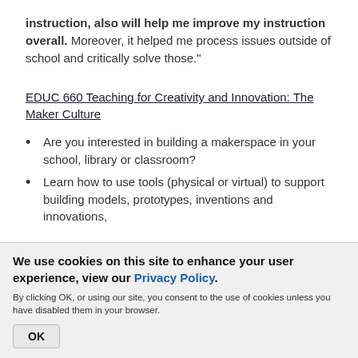instruction, also will help me improve my instruction overall. Moreover, it helped me process issues outside of school and critically solve those."
EDUC 660 Teaching for Creativity and Innovation: The Maker Culture
Are you interested in building a makerspace in your school, library or classroom?
Learn how to use tools (physical or virtual) to support building models, prototypes, inventions and innovations,
We use cookies on this site to enhance your user experience, view our Privacy Policy.
By clicking OK, or using our site, you consent to the use of cookies unless you have disabled them in your browser.